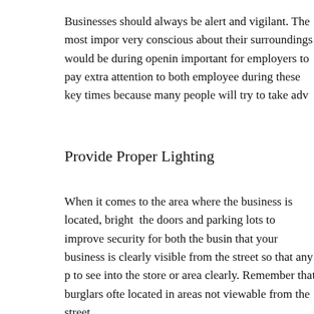Businesses should always be alert and vigilant. The most impor... very conscious about their surroundings would be during openin... important for employers to pay extra attention to both employee... during these key times because many people will try to take adv...
Provide Proper Lighting
When it comes to the area where the business is located, bright ... the doors and parking lots to improve security for both the busin... that your business is clearly visible from the street so that any p... to see into the store or area clearly. Remember that burglars ofte... located in areas not viewable from the street.
Get Help from a Security Company
It also pays to have good security installed in your premises. Ge... quite affordable and it could pay for itself the first time it is trig... companies ready to provide security you can get competitive qu...